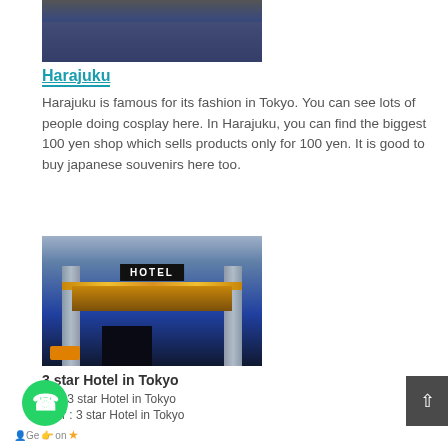[Figure (photo): Crowd of people at Harajuku street in Tokyo, dense crowd with colorful clothing]
Harajuku
Harajuku is famous for its fashion in Tokyo. You can see lots of people doing cosplay here. In Harajuku, you can find the biggest 100 yen shop which sells products only for 100 yen. It is good to buy japanese souvenirs here too.
[Figure (photo): Exterior of a hotel at night with lit marquee sign reading HOTEL, yellow taxi in front, classical architecture building]
3 star Hotel in Tokyo
ess: 3 star Hotel in Tokyo
e for : 3 star Hotel in Tokyo